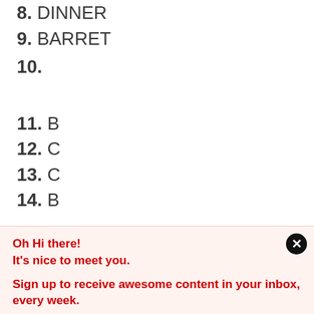8. DINNER
9. BARRET
10.
11. B
12. C
13. C
14. B
Oh Hi there!
It's nice to meet you.

Sign up to receive awesome content in your inbox, every week.
[Figure (infographic): Social sharing bar with icons: Messenger (blue), Gmail (red), Telegram (blue), Pocket (pink-red), WhatsApp (green), More (gray)]